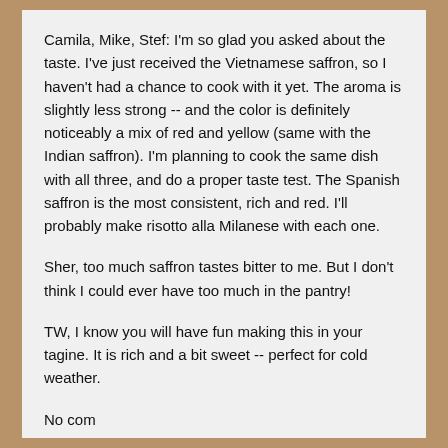Camila, Mike, Stef: I'm so glad you asked about the taste. I've just received the Vietnamese saffron, so I haven't had a chance to cook with it yet. The aroma is slightly less strong -- and the color is definitely noticeably a mix of red and yellow (same with the Indian saffron). I'm planning to cook the same dish with all three, and do a proper taste test. The Spanish saffron is the most consistent, rich and red. I'll probably make risotto alla Milanese with each one.
Sher, too much saffron tastes bitter to me. But I don't think I could ever have too much in the pantry!
TW, I know you will have fun making this in your tagine. It is rich and a bit sweet -- perfect for cold weather.
No compl ete d oc um en ts e nth...